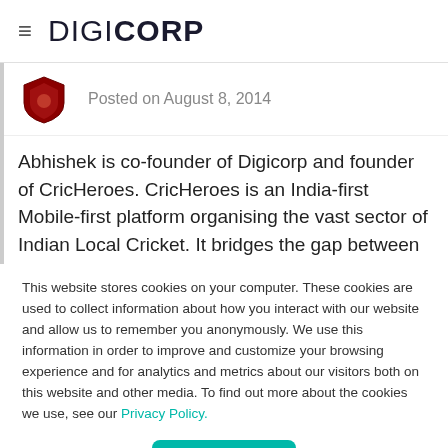DIGICORP
Posted on August 8, 2014
Abhishek is co-founder of Digicorp and founder of CricHeroes. CricHeroes is an India-first Mobile-first platform organising the vast sector of Indian Local Cricket. It bridges the gap between passionate amateur cricketers and international cricketers with
This website stores cookies on your computer. These cookies are used to collect information about how you interact with our website and allow us to remember you anonymously. We use this information in order to improve and customize your browsing experience and for analytics and metrics about our visitors both on this website and other media. To find out more about the cookies we use, see our Privacy Policy.
Accept